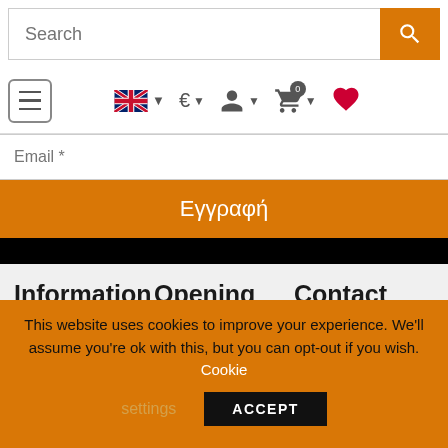[Figure (screenshot): Website search bar with orange search button]
[Figure (screenshot): Navigation bar with hamburger menu, UK flag, euro currency, user icon, shopping cart with badge 0, and heart/wishlist icon]
Email *
Εγγραφή
Information
Opening Hours
Contact Us
Terms and Conditions
This website uses cookies to improve your experience. We'll assume you're ok with this, but you can opt-out if you wish. Cookie settings ACCEPT